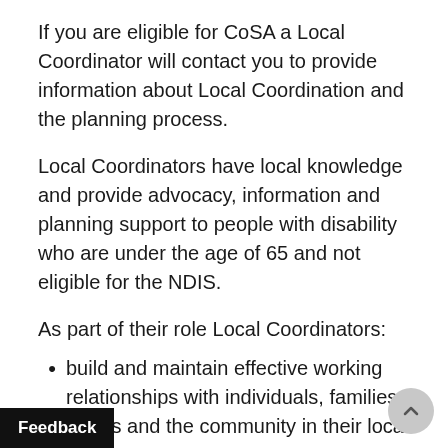If you are eligible for CoSA a Local Coordinator will contact you to provide information about Local Coordination and the planning process.
Local Coordinators have local knowledge and provide advocacy, information and planning support to people with disability who are under the age of 65 and not eligible for the NDIS.
As part of their role Local Coordinators:
build and maintain effective working relationships with individuals, families, carers and the community in their local area
assist individuals, families, carers to access information through a variety of means and provide accurate and timely information